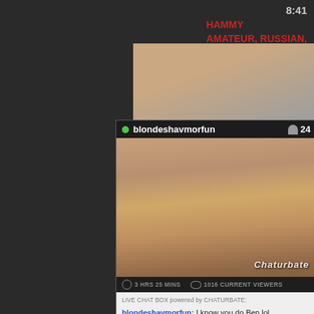8:41
HAMMY
AMATEUR, RUSSIAN,
[Figure (screenshot): Webcam stream thumbnail showing person from behind in denim skirt]
blondeshavmorfun
24
[Figure (screenshot): Chaturbate live stream video showing person from behind in bikini bottom and denim skirt lifted, with Chaturbate watermark]
3 HRS 25 MINS
1016 CURRENT VIEWERS
LIVE CHAT BOX powered by CHATURBATE:
blondeshavmorfun: I know you do Ben lol
BigBen1665: give it to me NAO! ;)
blondeshavmorfun: any other guys wanna see my fresh brazilian wax??? :O